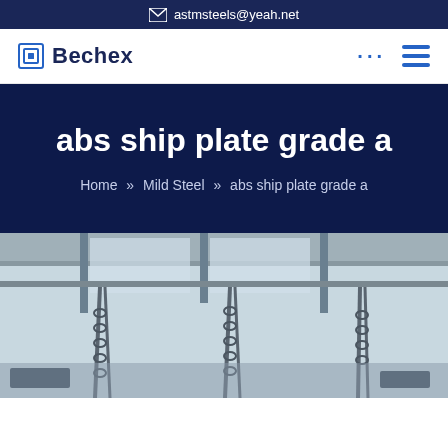astmsteels@yeah.net
[Figure (logo): Bechex company logo with square icon and text]
abs ship plate grade a
Home » Mild Steel » abs ship plate grade a
[Figure (photo): Industrial warehouse interior with chains hanging from ceiling crane in a steel facility]